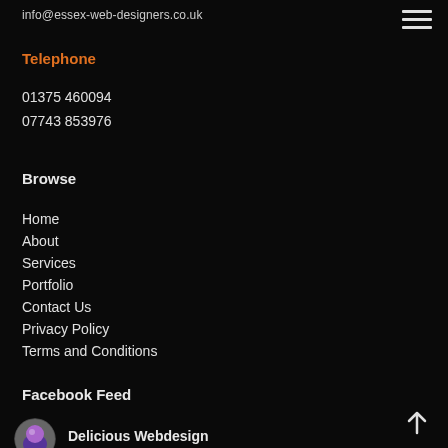info@essex-web-designers.co.uk
Telephone
01375 460094
07743 853976
Browse
Home
About
Services
Portfolio
Contact Us
Privacy Policy
Terms and Conditions
Facebook Feed
Delicious Webdesign